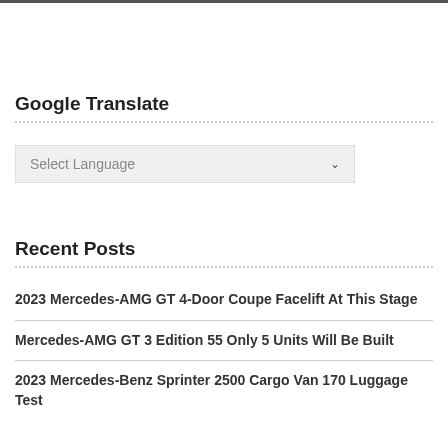Google Translate
[Figure (screenshot): Select Language dropdown box with chevron arrow]
Recent Posts
2023 Mercedes-AMG GT 4-Door Coupe Facelift At This Stage
Mercedes-AMG GT 3 Edition 55 Only 5 Units Will Be Built
2023 Mercedes-Benz Sprinter 2500 Cargo Van 170 Luggage Test